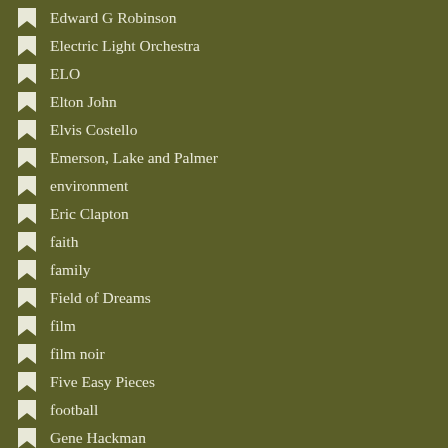Edward G Robinson
Electric Light Orchestra
ELO
Elton John
Elvis Costello
Emerson, Lake and Palmer
environment
Eric Clapton
faith
family
Field of Dreams
film
film noir
Five Easy Pieces
football
Gene Hackman
Gene Kelly
Genesis
George Clooney